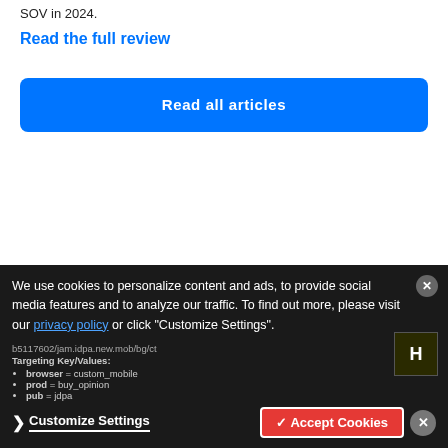SOV in 2024.
Read the full review
Read all articles
We use cookies to personalize content and ads, to provide social media features and to analyze our traffic. To find out more, please visit our privacy policy or click "Customize Settings".
Customize Settings
✓ Accept Cookies
b5117602/jam.idpa.new.mob/bg/ct
Targeting Key/Values:
browser = custom_mobile
prod = buy_opinion
pub = jdpa